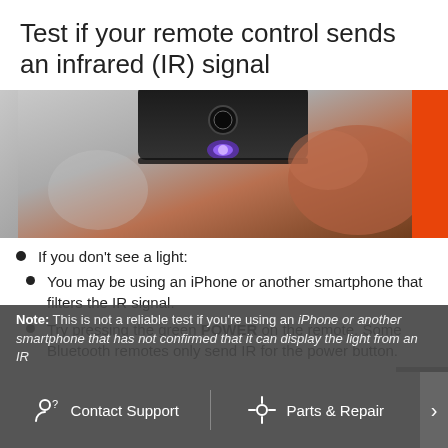Test if your remote control sends an infrared (IR) signal
[Figure (photo): Close-up photo of a smartphone camera pointing at a dark remote control, showing a blue/purple IR light visible through the phone camera. Brown/warm background suggesting a hand or surface.]
If you don't see a light:
You may be using an iPhone or another smartphone that filters the IR signal.
Try pressing the green POWER on the remote. Some Bluetooth remotes only send IR for the power button.
If there's no light or it's dim, the batteries may be low. Replace the batteries and try again.
Note: This is not a reliable test if you're using an [iPhone or another smartphone that has not confirmed that it can display the light from an IR...
Contact Support   Parts & Repair